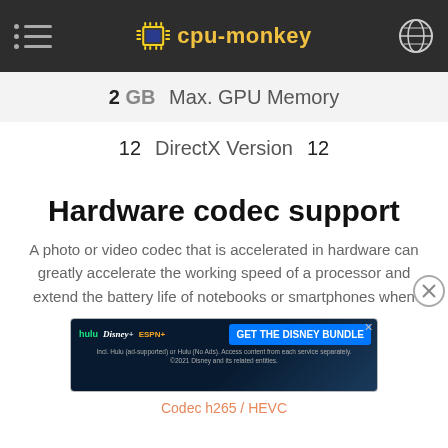cpu-monkey
2 GB  Max. GPU Memory
12  DirectX Version  12
Hardware codec support
A photo or video codec that is accelerated in hardware can greatly accelerate the working speed of a processor and extend the battery life of notebooks or smartphones when playing video.
[Figure (screenshot): Advertisement banner for Disney Bundle featuring Hulu, Disney+, ESPN+ logos and 'GET THE DISNEY BUNDLE' call to action]
Codec h265 / HEVC